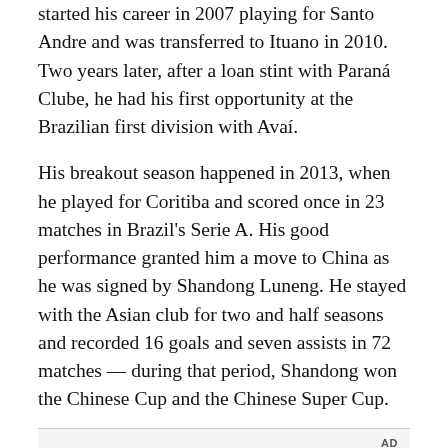started his career in 2007 playing for Santo Andre and was transferred to Ituano in 2010. Two years later, after a loan stint with Paraná Clube, he had his first opportunity at the Brazilian first division with Avaí.
His breakout season happened in 2013, when he played for Coritiba and scored once in 23 matches in Brazil's Serie A. His good performance granted him a move to China as he was signed by Shandong Luneng. He stayed with the Asian club for two and half seasons and recorded 16 goals and seven assists in 72 matches — during that period, Shandong won the Chinese Cup and the Chinese Super Cup.
[Figure (other): Advertisement placeholder with dark image area at bottom]